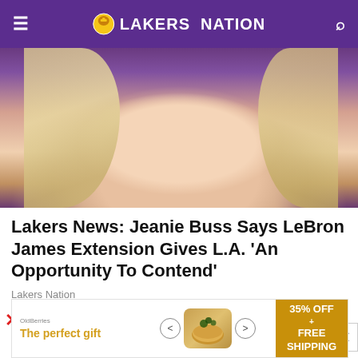LAKERS NATION
[Figure (photo): Close-up photo of a blonde woman smiling, wearing pearl earrings, against a purple background]
Lakers News: Jeanie Buss Says LeBron James Extension Gives L.A. 'An Opportunity To Contend'
Lakers Nation
Published on
03/05/2013
[Figure (infographic): Bottom advertisement banner: 'The perfect gift' with product carousel and '35% OFF + FREE SHIPPING' offer]